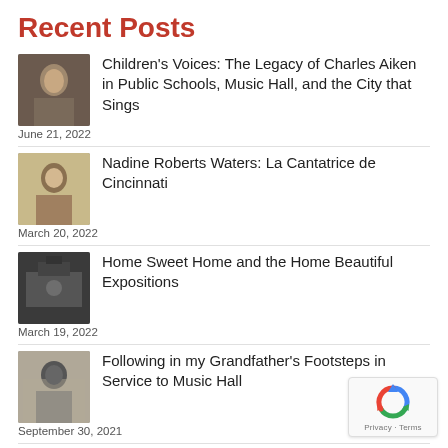Recent Posts
Children's Voices: The Legacy of Charles Aiken in Public Schools, Music Hall, and the City that Sings
June 21, 2022
Nadine Roberts Waters: La Cantatrice de Cincinnati
March 20, 2022
Home Sweet Home and the Home Beautiful Expositions
March 19, 2022
Following in my Grandfather's Footsteps in Service to Music Hall
September 30, 2021
Categories
[Figure (logo): reCAPTCHA badge with recycling-style arrow logo and Privacy · Terms text]